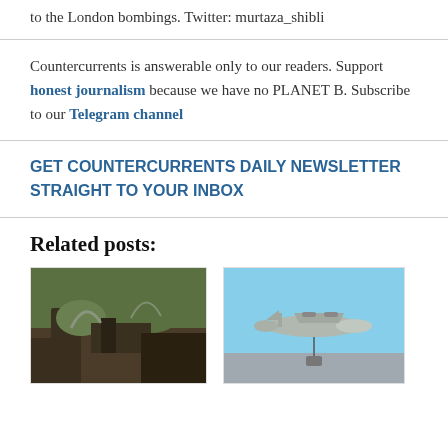to the London bombings. Twitter: murtaza_shibli
Countercurrents is answerable only to our readers. Support honest journalism because we have no PLANET B. Subscribe to our Telegram channel
GET COUNTERCURRENTS DAILY NEWSLETTER STRAIGHT TO YOUR INBOX
Related posts:
[Figure (photo): Photograph showing a forest fire or burned landscape with smoke and debris on the ground]
[Figure (photo): Photograph of a military transport aircraft (appears to be an AN-32 or similar) flying in a clear blue sky with something suspended below it]